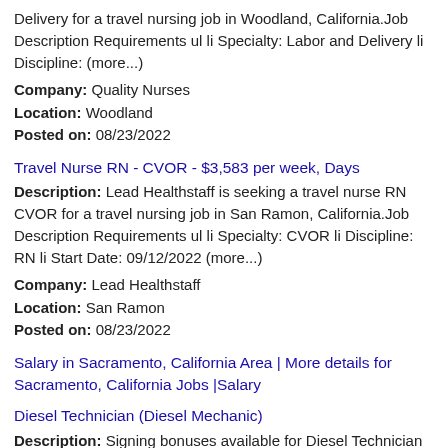Description: Quality Nurses is seeking a travel nurse RN Labor and Delivery for a travel nursing job in Woodland, California.Job Description Requirements ul li Specialty: Labor and Delivery li Discipline: (more...)
Company: Quality Nurses
Location: Woodland
Posted on: 08/23/2022
Travel Nurse RN - CVOR - $3,583 per week, Days
Description: Lead Healthstaff is seeking a travel nurse RN CVOR for a travel nursing job in San Ramon, California.Job Description Requirements ul li Specialty: CVOR li Discipline: RN li Start Date: 09/12/2022 (more...)
Company: Lead Healthstaff
Location: San Ramon
Posted on: 08/23/2022
Salary in Sacramento, California Area | More details for Sacramento, California Jobs |Salary
Diesel Technician (Diesel Mechanic)
Description: Signing bonuses available for Diesel Technician Diesel Mechanic The Dobbs Truck Group is a growth company that successfully expands our operations and customer base through a high-quality workforce and exceptional (more...)